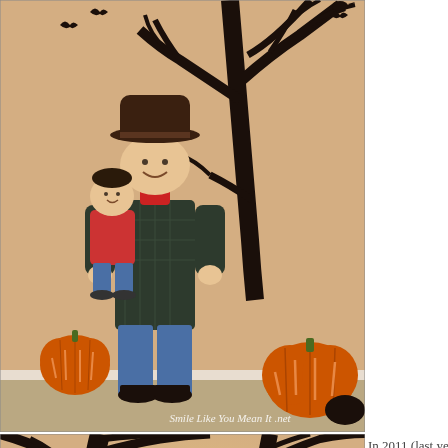[Figure (photo): A man dressed as a cowboy holding a toddler in Halloween costume, standing in front of a wall decorated with spooky bare tree decal and pumpkin decorations. Watermark reads 'Smile Like You Mean It .net'.]
[Figure (photo): Partial view of the same Halloween-decorated room showing the spooky bare tree wall decal with bats and a crow perched on a branch, warm orange wall background.]
In 2011 (last year), Luke was a dinosaur and Scott and I wore